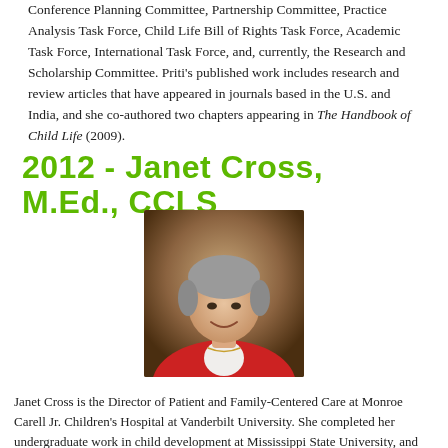Conference Planning Committee, Partnership Committee, Practice Analysis Task Force, Child Life Bill of Rights Task Force, Academic Task Force, International Task Force, and, currently, the Research and Scholarship Committee. Priti's published work includes research and review articles that have appeared in journals based in the U.S. and India, and she co-authored two chapters appearing in The Handbook of Child Life (2009).
2012 - Janet Cross, M.Ed., CCLS
[Figure (photo): Portrait photo of Janet Cross, a woman with short gray hair wearing a red jacket and white collared shirt, smiling, against a warm brown background.]
Janet Cross is the Director of Patient and Family-Centered Care at Monroe Carell Jr. Children's Hospital at Vanderbilt University. She completed her undergraduate work in child development at Mississippi State University, and later went on to earn a Masters of Education degree from George Peabody